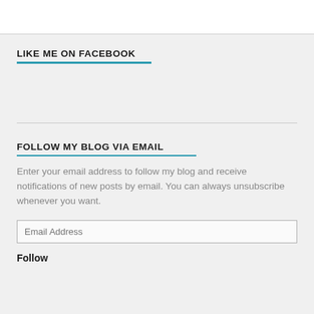LIKE ME ON FACEBOOK
FOLLOW MY BLOG VIA EMAIL
Enter your email address to follow my blog and receive notifications of new posts by email. You can always unsubscribe whenever you want.
Email Address
Follow